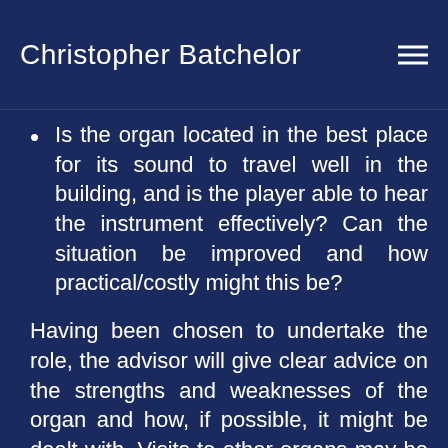Christopher Batchelor
Is the organ located in the best place for its sound to travel well in the building, and is the player able to hear the instrument effectively? Can the situation be improved and how practical/costly might this be?
Having been chosen to undertake the role, the advisor will give clear advice on the strengths and weaknesses of the organ and how, if possible, it might be dealt with. Visits to other organs may be arranged in order for the Organ Committee to be appraised of similar situations